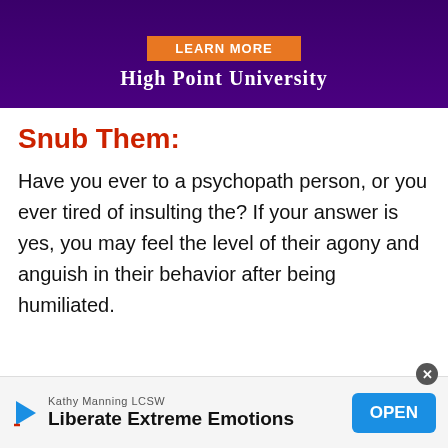[Figure (other): Advertisement banner for High Point University with purple background, orange 'LEARN MORE' button, and white university name text]
Snub Them:
Have you ever to a psychopath person, or you ever tired of insulting the? If your answer is yes, you may feel the level of their agony and anguish in their behavior after being humiliated.
[Figure (other): Bottom advertisement banner for Kathy Manning LCSW - Liberate Extreme Emotions with OPEN button]